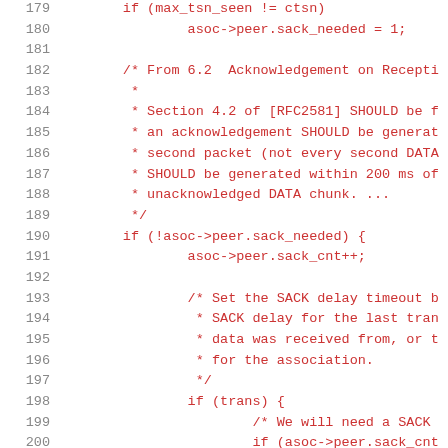[Figure (screenshot): Source code listing showing lines 179-200 of a C file implementing SCTP acknowledgement logic. Line numbers in gray on left, code in red/dark-red monospace font on white background.]